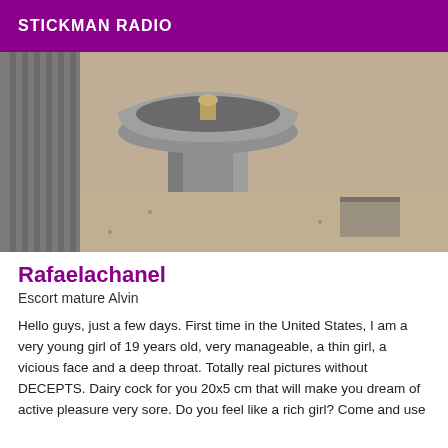STICKMAN RADIO
[Figure (photo): Outdoor stone drinking fountain pedestal on sandy/gravel ground, viewed from above-front angle. Grey stone basin and column visible. Metal fixture at top.]
Rafaelachanel
Escort mature Alvin
Hello guys, just a few days. First time in the United States, I am a very young girl of 19 years old, very manageable, a thin girl, a vicious face and a deep throat. Totally real pictures without DECEPTS. Dairy cock for you 20x5 cm that will make you dream of active pleasure very sore. Do you feel like a rich girl? Come and use